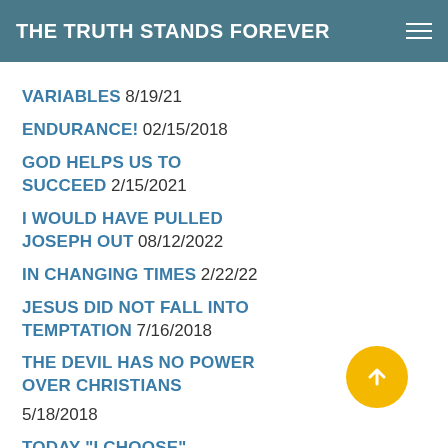THE TRUTH STANDS FOREVER
VARIABLES 8/19/21
ENDURANCE! 02/15/2018
GOD HELPS US TO SUCCEED 2/15/2021
I WOULD HAVE PULLED JOSEPH OUT 08/12/2022
IN CHANGING TIMES 2/22/22
JESUS DID NOT FALL INTO TEMPTATION 7/16/2018
THE DEVIL HAS NO POWER OVER CHRISTIANS 5/18/2018
TODAY "I CHOOSE"